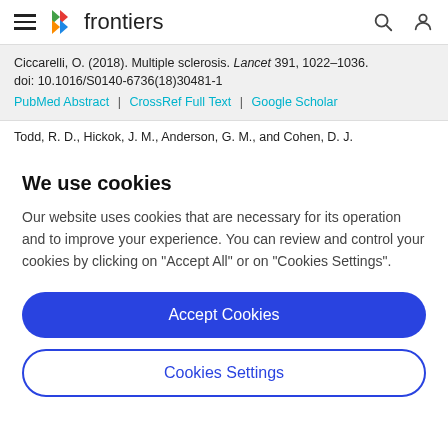frontiers (navigation bar with hamburger menu, logo, search and profile icons)
Ciccarelli, O. (2018). Multiple sclerosis. Lancet 391, 1022–1036. doi: 10.1016/S0140-6736(18)30481-1
PubMed Abstract | CrossRef Full Text | Google Scholar
Todd, R. D., Hickok, J. M., Anderson, G. M., and Cohen, D. J.
We use cookies
Our website uses cookies that are necessary for its operation and to improve your experience. You can review and control your cookies by clicking on "Accept All" or on "Cookies Settings".
Accept Cookies
Cookies Settings